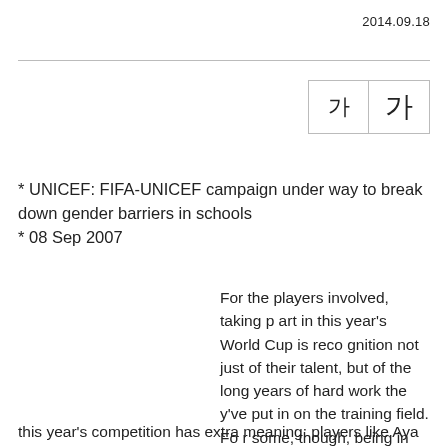2014.09.18
[Figure (other): Font size toggle buttons showing two Korean characters 가 (small) and 가 (large) in a bordered box]
* UNICEF: FIFA-UNICEF campaign under way to break down gender barriers in schools
* 08 Sep 2007
For the players involved, taking part in this year's World Cup is recognition not just of their talent, but of the long years of hard work they've put in on the training field. For some, though, being in China for this year's competition has extra meaning: players like Aya Mi